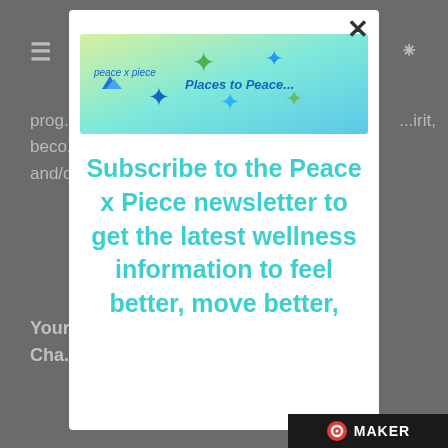[Figure (screenshot): Dimmed background of a webpage showing partially visible text about a program, a bold heading 'Your Chan...', share section, Twitter button, 'Like th...' text, and 'Loading...' text. A hamburger menu icon is top left and RSS icon is top right.]
[Figure (screenshot): Modal popup overlay with a white background. Contains a banner image at top with 'Places to Peace...' logo and colorful puzzle pieces on a gradient green-to-blue background. Below is a large teal/cyan bold text: 'Subscribe to the Peace x Piece newsletter to get the latest wellness information to feel better, move better,' (text cut off at bottom). An X close button is in the top right of the modal. A MAKER branding bar appears at the bottom right of the page.]
Subscribe to the Peace x Piece newsletter to get the latest wellness information to feel better, move better,